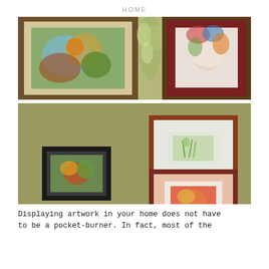HOME
[Figure (photo): Two framed artworks hanging on a light green wall. Left frame has a colorful bird/floral watercolor painting with a white mat and wood frame. Right frame has a colorful abstract face/figure drawing with a red mat and dark wood frame. Between them a decorative floral element is visible on the wall.]
[Figure (photo): Three small framed artworks hanging on a light green/olive wall. Left side: one small dark-framed piece with colorful floral artwork. Right side upper: a small artwork with white mat in a reddish-brown frame. Right side lower: a small artwork with a peach/pink mat in a dark reddish-brown frame.]
Displaying artwork in your home does not have to be a pocket-burner. In fact, most of the